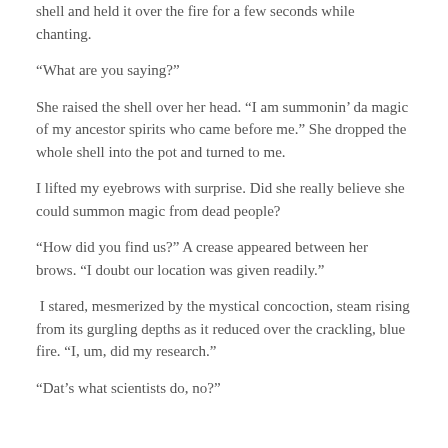shell and held it over the fire for a few seconds while chanting.
“What are you saying?”
She raised the shell over her head. “I am summonin’ da magic of my ancestor spirits who came before me.” She dropped the whole shell into the pot and turned to me.
I lifted my eyebrows with surprise. Did she really believe she could summon magic from dead people?
“How did you find us?” A crease appeared between her brows. “I doubt our location was given readily.”
I stared, mesmerized by the mystical concoction, steam rising from its gurgling depths as it reduced over the crackling, blue fire. “I, um, did my research.”
“Dat’s what scientists do, no?”